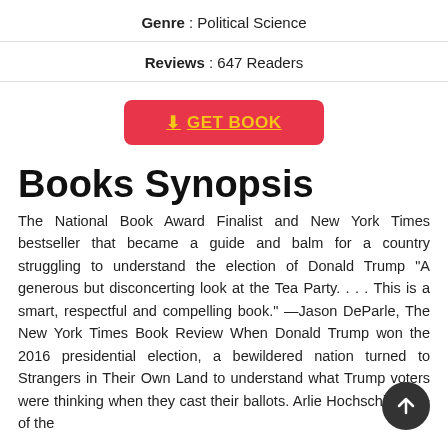Genre : Political Science
Reviews : 647 Readers
GET BOOK
Books Synopsis
The National Book Award Finalist and New York Times bestseller that became a guide and balm for a country struggling to understand the election of Donald Trump "A generous but disconcerting look at the Tea Party. . . . This is a smart, respectful and compelling book." —Jason DeParle, The New York Times Book Review When Donald Trump won the 2016 presidential election, a bewildered nation turned to Strangers in Their Own Land to understand what Trump voters were thinking when they cast their ballots. Arlie Hochschild, one of the